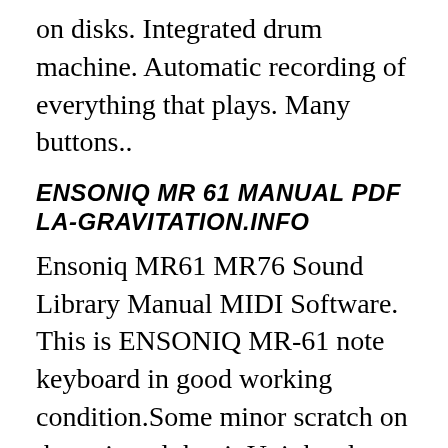on disks. Integrated drum machine. Automatic recording of everything that plays. Many buttons..
ENSONIQ MR 61 MANUAL PDF LA-GRAVITATION.INFO
Ensoniq MR61 MR76 Sound Library Manual MIDI Software. This is ENSONIQ MR-61 note keyboard in good working condition.Some minor scratch on the unit and that it.Unit has latest os 2.11 and 90 days warranty. 600.00$ Ihave 2 units available. This is Ensoniq MR-Rack 64 voice sound module That i just built with alot of new parts. Like new Just some minor scratch at the bottom and that it.Please call for more detail. 400.00$. This is ENSONIQ EPS-16 rack, THESONIQ is the only one authorize service center by EMU. I work at ENSONIQ factory for